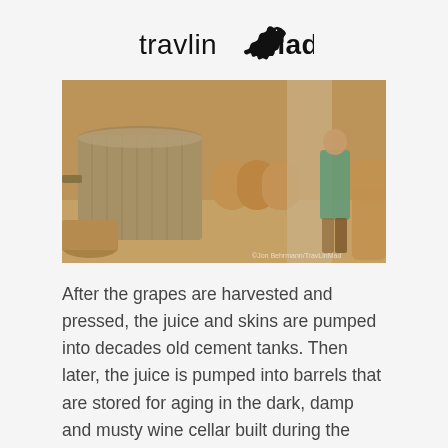[Figure (logo): TravlinMad logo with chameleon silhouette and text 'travlinmad']
[Figure (photo): Interior of a wine cellar showing large metal fermentation tanks, wooden oak barrels, stone walls, and a person in a teal shirt working among the barrels. Warm amber/golden lighting.]
After the grapes are harvested and pressed, the juice and skins are pumped into decades old cement tanks. Then later, the juice is pumped into barrels that are stored for aging in the dark, damp and musty wine cellar built during the